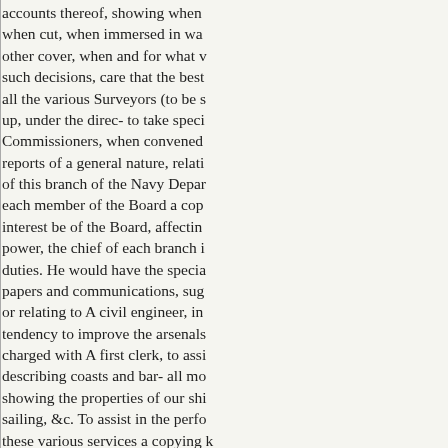accounts thereof, showing when cut, when immersed in wa other cover, when and for what v such decisions, care that the best all the various Surveyors (to be s up, under the direc- to take speci Commissioners, when convened reports of a general nature, relati of this branch of the Navy Depar each member of the Board a cop interest be of the Board, affectin power, the chief of each branch i duties. He would have the specia papers and communications, sug or relating to A civil engineer, in tendency to improve the arsenals charged with A first clerk, to assi describing coasts and bar- all mo showing the properties of our shi sailing, &c. To assist in the perfo these various services a copying k perrequired.
sous with them, and holding them therefor, on their return from a c